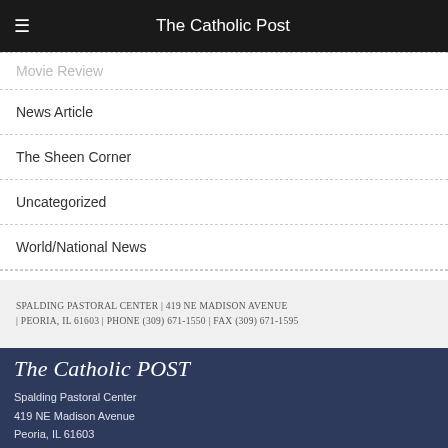The Catholic Post
Movie Review
News Article
The Sheen Corner
Uncategorized
World/National News
SPALDING PASTORAL CENTER | 419 NE MADISON AVENUE | PEORIA, IL 61603 | PHONE (309) 671-1550 | FAX (309) 671-1595
The Catholic Post
Spalding Pastoral Center
419 NE Madison Avenue
Peoria, IL 61603